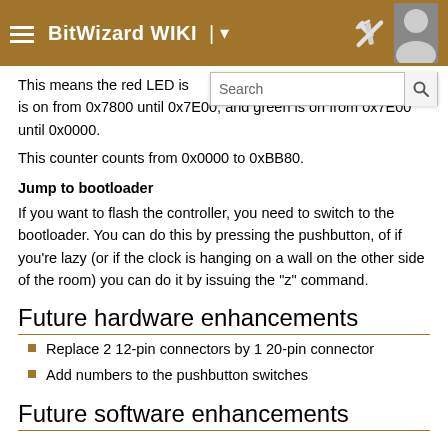BitWizard WIKI
This means the red LED is on from 0x0000 until 0x7800, blue is on from 0x7800 until 0x7E00, and green is on from 0x7E00 until 0x0000.
This counter counts from 0x0000 to 0xBB80.
Jump to bootloader
If you want to flash the controller, you need to switch to the bootloader. You can do this by pressing the pushbutton, of if you're lazy (or if the clock is hanging on a wall on the other side of the room) you can do it by issuing the "z" command.
Future hardware enhancements
Replace 2 12-pin connectors by 1 20-pin connector
Add numbers to the pushbutton switches
Future software enhancements
Changelog